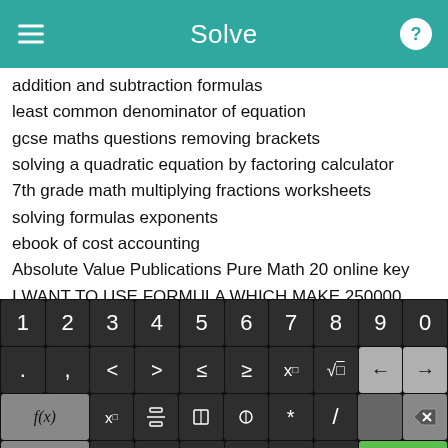Solve
addition and subtraction formulas
least common denominator of equation
gcse maths questions removing brackets
solving a quadratic equation by factoring calculator
7th grade math multiplying fractions worksheets
solving formulas exponents
ebook of cost accounting
Absolute Value Publications Pure Math 20 online key
I WANT TO USE FORMULA WHICH MAKE 250000 INTO 2.5
"how to do multiplication" decimals
[Figure (screenshot): Math keyboard with numeric keys 1-9,0; symbol keys including . , < > ≤ ≥ x□ √□ backspace arrow; function keys f(x) x□ fraction absolute-value enclosed-bracket * / delete; bottom row abc rotate x y = + - Solve! button]